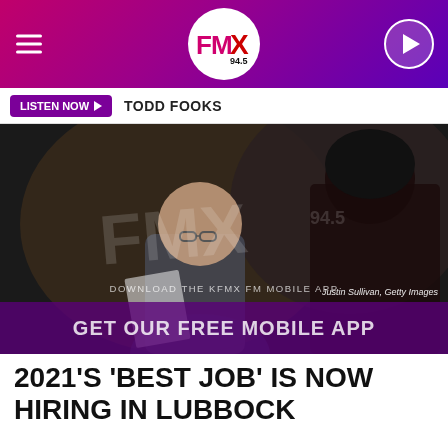FMX 94.5 — hamburger menu, logo, play button
LISTEN NOW ▶  TODD FOOKS
[Figure (photo): Two women at a desk in a job interview or employment office setting, with FMX 94.5 watermark overlay, 'DOWNLOAD THE KFMX FM MOBILE APP' text, 'GET OUR FREE MOBILE APP' bar, and photo credit 'Justin Sullivan, Getty Images']
Justin Sullivan, Getty Images
2021'S 'BEST JOB' IS NOW HIRING IN LUBBOCK